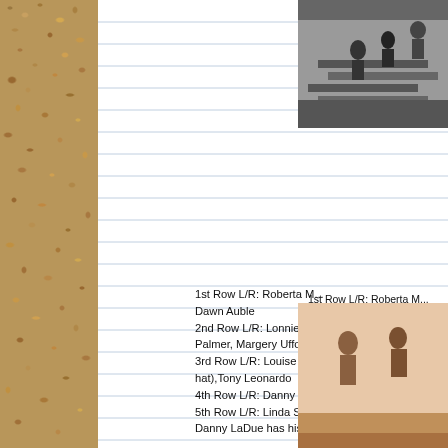[Figure (photo): Black and white photograph, upper right corner, showing people on stairs]
1st Row L/R: Roberta M... Dawn Auble
2nd Row L/R: Lonnie Po... Palmer, Margery Ufford,
3rd Row L/R: Louise Sa... hat),Tony Leonardo
4th Row L/R: Danny LaD...
5th Row L/R: Linda Spe... Danny LaDue has his fir...
[Figure (photo): Color/sepia photograph, lower right corner]